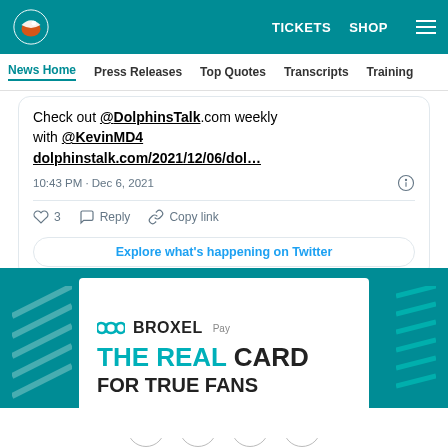[Figure (screenshot): Miami Dolphins website header with teal background, Dolphins logo on left, TICKETS and SHOP links and hamburger menu on right]
News Home | Press Releases | Top Quotes | Transcripts | Training
Check out @DolphinsTalk.com weekly with @KevinMD4 dolphinstalk.com/2021/12/06/dol...
10:43 PM · Dec 6, 2021
3  Reply  Copy link
Explore what's happening on Twitter
[Figure (illustration): Broxel Pay advertisement — THE REAL CARD FOR TRUE FANS — on teal background with diagonal stripe decorations]